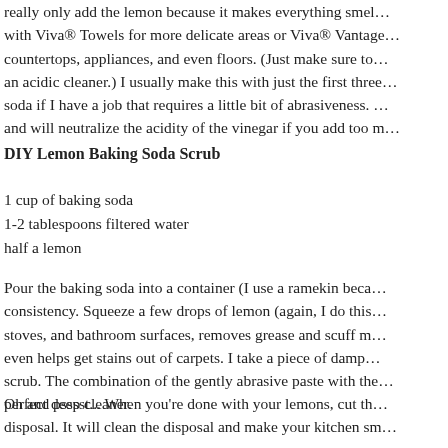really only add the lemon because it makes everything smell… with Viva® Towels for more delicate areas or Viva® Vantage… countertops, appliances, and even floors. (Just make sure to… an acidic cleaner.) I usually make this with just the first three… soda if I have a job that requires a little bit of abrasiveness.… and will neutralize the acidity of the vinegar if you add too m…
DIY Lemon Baking Soda Scrub
1 cup of baking soda
1-2 tablespoons filtered water
half a lemon
Pour the baking soda into a container (I use a ramekin beca… consistency. Squeeze a few drops of lemon (again, I do this… stoves, and bathroom surfaces, removes grease and scuff m… even helps get stains out of carpets. I take a piece of damp… scrub. The combination of the gently abrasive paste with the… perfect deep cleaner.
Oh and psssst... When you're done with your lemons, cut th… disposal. It will clean the disposal and make your kitchen sm…